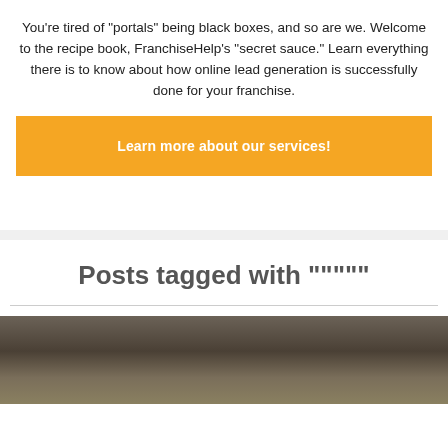You're tired of "portals" being black boxes, and so are we. Welcome to the recipe book, FranchiseHelp's "secret sauce." Learn everything there is to know about how online lead generation is successfully done for your franchise.
Learn more about our services!
Posts tagged with """""
[Figure (photo): Blurred dark background photo, appears to show a surface with dark and warm tones]